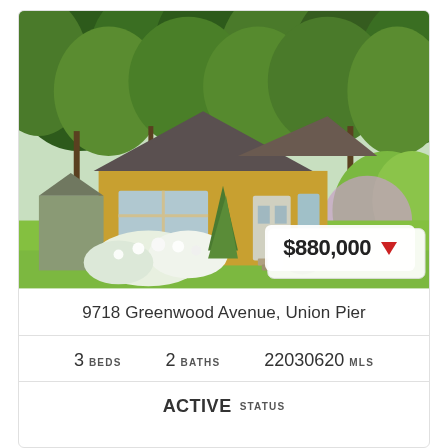[Figure (photo): Exterior photo of a yellow cottage-style house surrounded by lush green trees and landscaping with white flowering bushes in front, green lawn, and a small shed to the left. Price badge showing $880,000 with a red downward triangle in the lower right corner.]
9718 Greenwood Avenue, Union Pier
3 BEDS   2 BATHS   22030620 MLS
ACTIVE STATUS